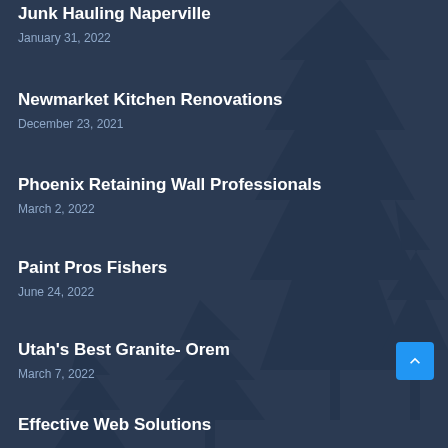Junk Hauling Naperville
January 31, 2022
Newmarket Kitchen Renovations
December 23, 2021
Phoenix Retaining Wall Professionals
March 2, 2022
Paint Pros Fishers
June 24, 2022
Utah's Best Granite- Orem
March 7, 2022
Effective Web Solutions